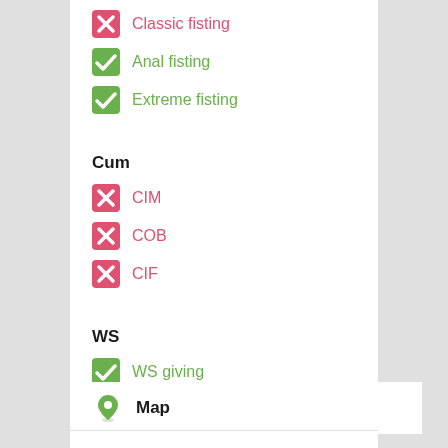Classic fisting
Anal fisting
Extreme fisting
Cum
CIM
COB
CIF
WS
WS giving
WS getting
Map